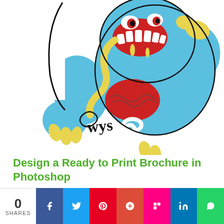[Figure (illustration): Colorful cartoon illustration of a blue monster/demon creature with a red brain visible, yellow claws and accents, biting/eating something, with a stylized black logo/signature mark. Bold comic-book style line art on white background.]
Design a Ready to Print Brochure in Photoshop
In this tutorial you're going to learn how to create a ready
[Figure (infographic): Social share bar with share count (0 SHARES) and buttons: Facebook (blue), Twitter (light blue), Pinterest (red), Plus/Google (red-orange), Flipboard (pink/red), LinkedIn (blue), WhatsApp (green).]